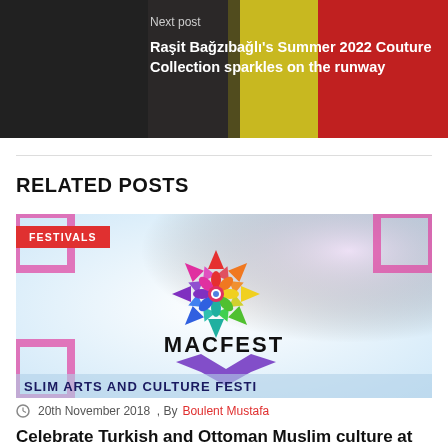[Figure (photo): Next post banner showing fashion runway with colorful dresses, with overlay text 'Next post' and title 'Raşit Bağzıbağlı's Summer 2022 Couture Collection sparkles on the runway']
RELATED POSTS
[Figure (photo): MACFEST - Muslim Arts and Culture Festival logo on decorative background with colorful geometric/floral mandala design. A red badge reads FESTIVALS in the top-left corner.]
20th November 2018 , By Boulent Mustafa
Celebrate Turkish and Ottoman Muslim culture at Manchester's new